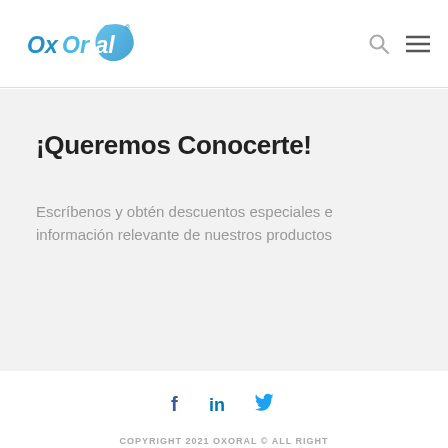OxOral logo, search icon, menu icon
¡Queremos Conocerte!
Escríbenos y obtén descuentos especiales e información relevante de nuestros productos
Social icons: f, in, Twitter | COPYRIGHT 2021 OXORAL © ALL RIGHT